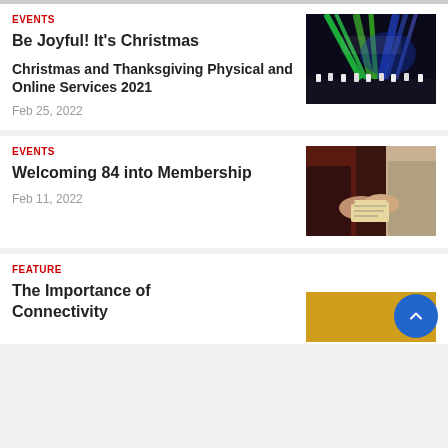EVENTS
Be Joyful! It's Christmas
Christmas and Thanksgiving Physical and Online Services 2021
Feb 25, 2022
[Figure (photo): Stage performance with colorful green and blue lights, performers in white on a dark stage]
EVENTS
Welcoming 84 into Membership
Feb 11, 2022
[Figure (photo): Close-up of hands passing a document or card in a church pew setting]
FEATURE
The Importance of Connectivity
[Figure (photo): Partially visible yellow/golden colored image at bottom right]